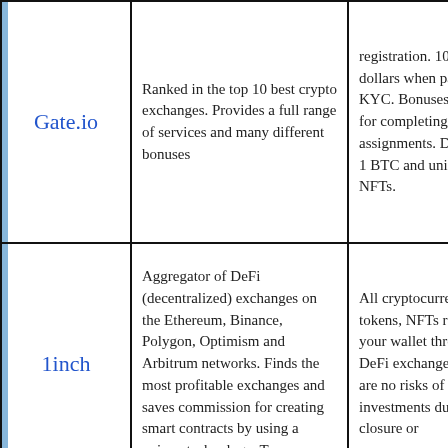| Exchange | Description | Bonuses/Features |
| --- | --- | --- |
| Gate.io | Ranked in the top 10 best crypto exchanges. Provides a full range of services and many different bonuses | registration. 1000 test dollars when passing KYC. Bonuses $ 500 for completing assignments. Draw for 1 BTC and unique NFTs. |
| 1inch | Aggregator of DeFi (decentralized) exchanges on the Ethereum, Binance, Polygon, Optimism and Arbitrum networks. Finds the most profitable exchanges and saves commission for creating smart contracts by using a unique technology. To... | All cryptocurrencies, tokens, NFTs remain in your wallet through DeFi exchanges. There are no risks of losing investments due to the closure or... |